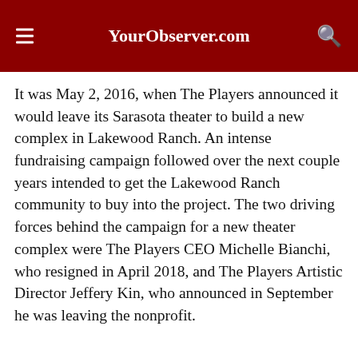YourObserver.com
It was May 2, 2016, when The Players announced it would leave its Sarasota theater to build a new complex in Lakewood Ranch. An intense fundraising campaign followed over the next couple years intended to get the Lakewood Ranch community to buy into the project. The two driving forces behind the campaign for a new theater complex were The Players CEO Michelle Bianchi, who resigned in April 2018, and The Players Artistic Director Jeffery Kin, who announced in September he was leaving the nonprofit.